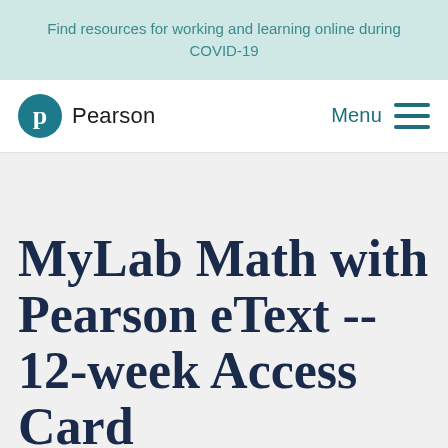Find resources for working and learning online during COVID-19
[Figure (logo): Pearson logo with teal circle containing a stylized P and the word Pearson]
Menu
MyLab Math with Pearson eText -- 12-week Access Card